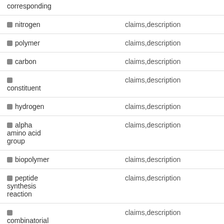| term | source | count |
| --- | --- | --- |
| corresponding |  |  |
| nitrogen | claims,description | 12 |
| polymer | claims,description | 12 |
| carbon | claims,description | 11 |
| constituent | claims,description | 11 |
| hydrogen | claims,description | 11 |
| alpha amino acid group | claims,description | 10 |
| biopolymer | claims,description | 9 |
| peptide synthesis reaction | claims,description | 9 |
| combinatorial chemistry | claims,description | 6 |